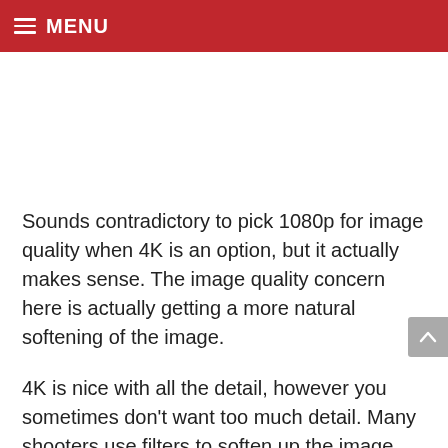MENU
Sounds contradictory to pick 1080p for image quality when 4K is an option, but it actually makes sense. The image quality concern here is actually getting a more natural softening of the image.
4K is nice with all the detail, however you sometimes don't want too much detail. Many shooters use filters to soften up the image. Shooting in Full HD achieves a similar effect. This slightly soft, but natural-looking